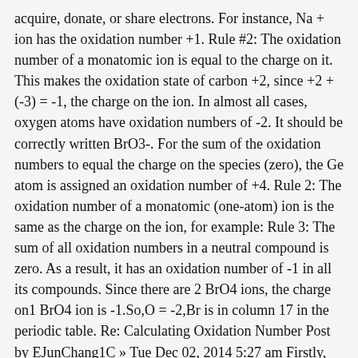acquire, donate, or share electrons. For instance, Na + ion has the oxidation number +1. Rule #2: The oxidation number of a monatomic ion is equal to the charge on it. This makes the oxidation state of carbon +2, since +2 + (-3) = -1, the charge on the ion. In almost all cases, oxygen atoms have oxidation numbers of -2. It should be correctly written BrO3-. For the sum of the oxidation numbers to equal the charge on the species (zero), the Ge atom is assigned an oxidation number of +4. Rule 2: The oxidation number of a monatomic (one-atom) ion is the same as the charge on the ion, for example: Rule 3: The sum of all oxidation numbers in a neutral compound is zero. As a result, it has an oxidation number of -1 in all its compounds. Since there are 2 BrO4 ions, the charge on1 BrO4 ion is -1.So,O = -2,Br is in column 17 in the periodic table. Re: Calculating Oxidation Number Post by EJunChang1C » Tue Dec 02, 2014 5:27 am Firstly, the overall (addition of all) oxidation state of a neutral compound must be zero. The oxidation state of a simple ion like hydride is equal to the charge on the ion—in this case, -1. Solution for